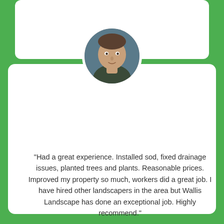[Figure (photo): Circular profile photo of a man (Justus Venable) sitting in a car, cropped to a circle with white border]
"Had a great experience.  Installed sod, fixed drainage issues, planted trees and plants.  Reasonable prices.  Improved my property so much, workers did a great job.  I have hired other landscapers in the area but Wallis Landscape has done an exceptional job.  Highly recommend."
Justus Venable
[Figure (other): Five gold star rating icons]
[Figure (logo): Google G logo]
Google review